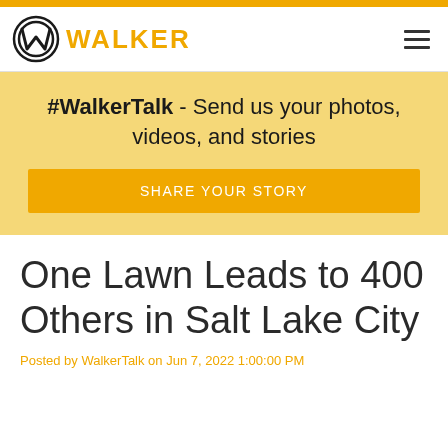[Figure (logo): Walker logo with circular W emblem and WALKER text in gold]
#WalkerTalk - Send us your photos, videos, and stories
SHARE YOUR STORY
One Lawn Leads to 400 Others in Salt Lake City
Posted by WalkerTalk on Jun 7, 2022 1:00:00 PM